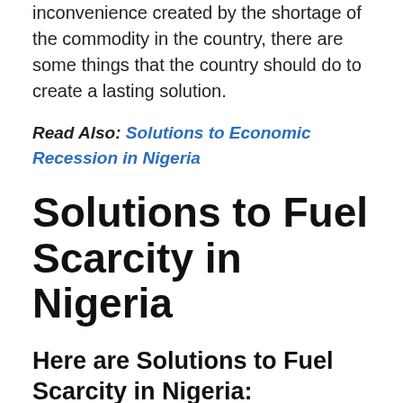inconvenience created by the shortage of the commodity in the country, there are some things that the country should do to create a lasting solution.
Read Also: Solutions to Economic Recession in Nigeria
Solutions to Fuel Scarcity in Nigeria
Here are Solutions to Fuel Scarcity in Nigeria:
1. Petroleum Sector Should Be Privatized